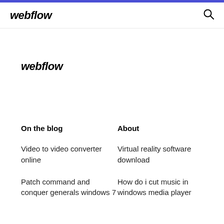webflow
webflow
On the blog
About
Video to video converter online
Virtual reality software download
Patch command and conquer generals windows 7
How do i cut music in windows media player